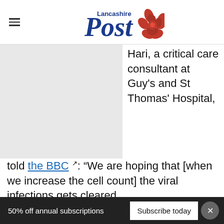Lancashire Post
[Figure (photo): Photo placeholder (grey rectangle) of a person, likely the consultant mentioned in the article]
Hari, a critical care consultant at Guy's and St Thomas' Hospital, told the BBC: “We are hoping that [when we increase the cell count] the viral infections gets cleared.
“I look after patients who are extremely unwel…
50% off annual subscriptions   Subscribe today